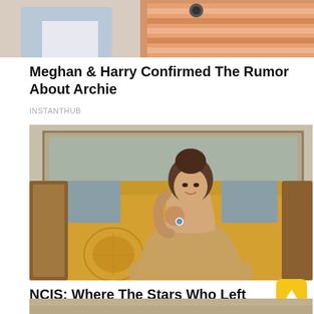[Figure (photo): Partial photo of two people, cropped at top of page]
Meghan & Harry Confirmed The Rumor About Archie
INSTANTHUB
[Figure (photo): Woman in a beige/gold dress sitting on an ornate golden sofa, posing with hand on chin, wearing a large ring, hair in bun]
NCIS: Where The Stars Who Left The Series Are Now
BRAINBERRIES
[Figure (photo): Partial photo visible at bottom of page]